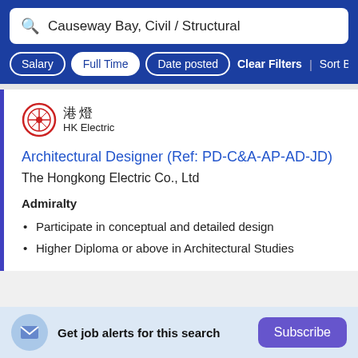Causeway Bay, Civil / Structural
Salary | Full Time | Date posted | Clear Filters | Sort By Relevance
[Figure (logo): HK Electric (港燈) company logo with red circular emblem]
Architectural Designer (Ref: PD-C&A-AP-AD-JD)
The Hongkong Electric Co., Ltd
Admiralty
Participate in conceptual and detailed design
Higher Diploma or above in Architectural Studies
Get job alerts for this search  Subscribe